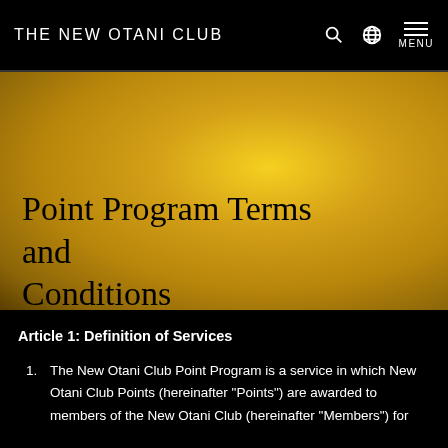THE NEW OTANI CLUB
[Figure (other): Gold gradient banner background for Point Program Terms and Conditions header]
Point Program Terms and Conditions
Article 1: Definition of Services
The New Otani Club Point Program is a service in which New Otani Club Points (hereinafter "Points") are awarded to members of the New Otani Club (hereinafter "Members") for